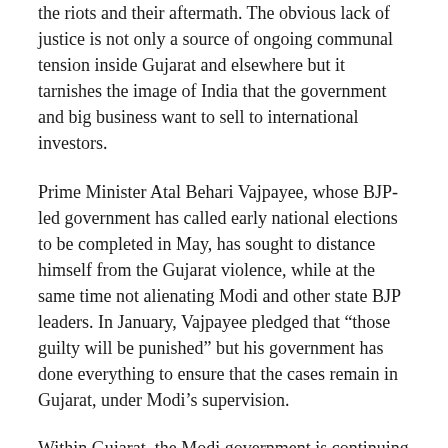the riots and their aftermath. The obvious lack of justice is not only a source of ongoing communal tension inside Gujarat and elsewhere but it tarnishes the image of India that the government and big business want to sell to international investors.
Prime Minister Atal Behari Vajpayee, whose BJP-led government has called early national elections to be completed in May, has sought to distance himself from the Gujarat violence, while at the same time not alienating Modi and other state BJP leaders. In January, Vajpayee pledged that “those guilty will be punished” but his government has done everything to ensure that the cases remain in Gujarat, under Modi’s supervision.
Within Gujarat, the Modi government is continuing to stir up anti-communal sentiment in a bid to divert attention from the state’s deteriorating economy. During the election campaign in 2002, he accused neighbouring